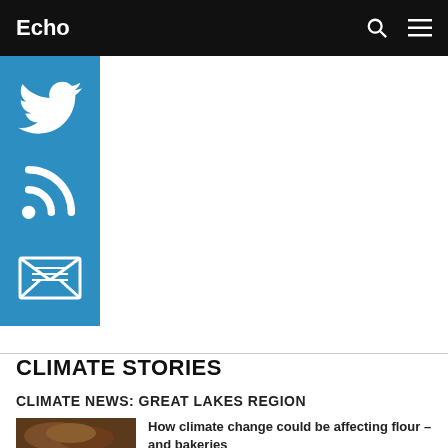Echo
[Figure (infographic): Blue social media sidebar with Twitter bird icon, RSS feed icon, and email/envelope icon]
CLIMATE STORIES
CLIMATE NEWS: GREAT LAKES REGION
[Figure (photo): Close-up photo of bread loaves, brown tones]
How climate change could be affecting flour – and bakeries
WBEZ CHICAGO